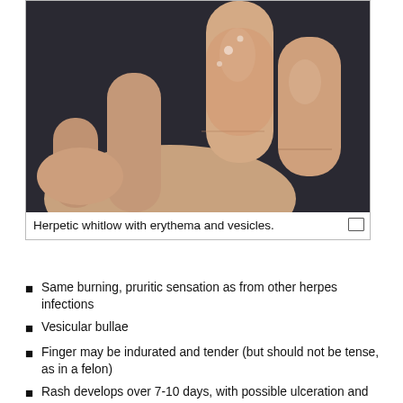[Figure (photo): Close-up photograph of a hand showing fingers with erythema (redness) and vesicles (small fluid-filled blisters) on the fingers, consistent with herpetic whitlow. The hand is resting on a dark fabric background.]
Herpetic whitlow with erythema and vesicles.
Same burning, pruritic sensation as from other herpes infections
Vesicular bullae
Finger may be indurated and tender (but should not be tense, as in a felon)
Rash develops over 7-10 days, with possible ulceration and rupture
Symptoms improve, crust over, and heal after 10-14 days with viral shedding terminating at this point
Complete resolution by 15-21 days